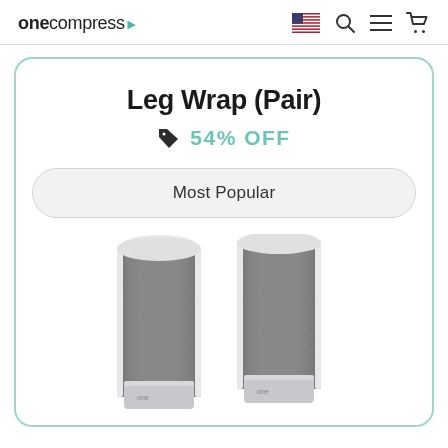onecompress
Leg Wrap (Pair)
54% OFF
Most Popular
[Figure (photo): Two leg compression wraps standing upright, gray fabric with white trim and silver hardware at the bottom, viewed from the front.]